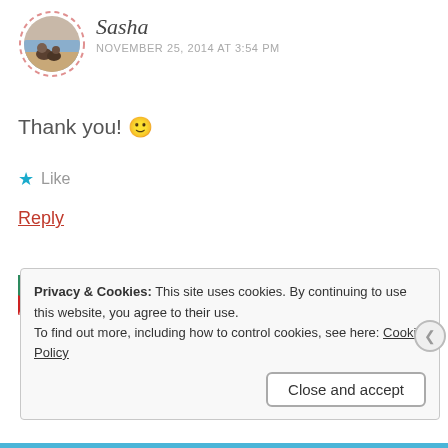[Figure (photo): Circular avatar photo with dashed border showing a person sitting on a beach]
Sasha
NOVEMBER 25, 2014 AT 3:54 PM
Thank you! 🙂
★ Like
Reply
[Figure (infographic): Ad banner with podcast lovers logo and Pocket Casts logo]
REPORT THIS AD
Privacy & Cookies: This site uses cookies. By continuing to use this website, you agree to their use.
To find out more, including how to control cookies, see here: Cookie Policy
Close and accept